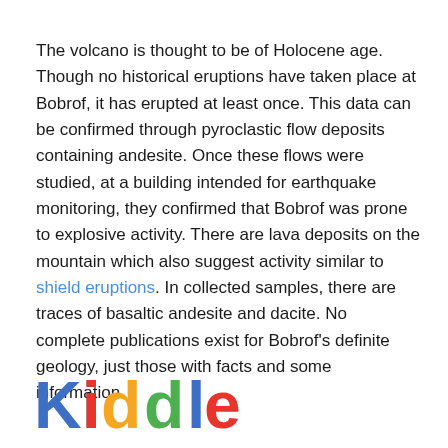The volcano is thought to be of Holocene age. Though no historical eruptions have taken place at Bobrof, it has erupted at least once. This data can be confirmed through pyroclastic flow deposits containing andesite. Once these flows were studied, at a building intended for earthquake monitoring, they confirmed that Bobrof was prone to explosive activity. There are lava deposits on the mountain which also suggest activity similar to shield eruptions. In collected samples, there are traces of basaltic andesite and dacite. No complete publications exist for Bobrof's definite geology, just those with facts and some information.
[Figure (logo): Kiddle logo in multicolor text: K in blue, i with red dot, d in yellow/orange, d in green, l in blue, e in red]